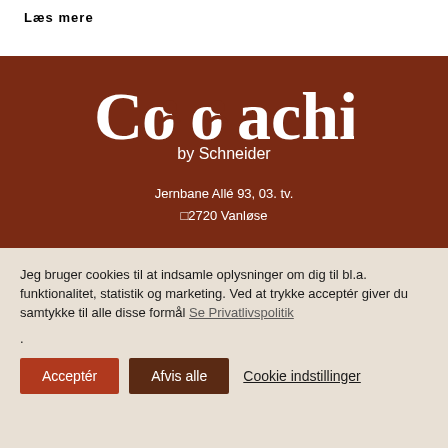Læs mere
[Figure (logo): Coaching by Schneider logo in white text on brown background]
Jernbane Allé 93, 03. tv.
□2720 Vanløse
Jeg bruger cookies til at indsamle oplysninger om dig til bl.a. funktionalitet, statistik og marketing. Ved at trykke acceptér giver du samtykke til alle disse formål Se Privatlivspolitik
.
Acceptér   Afvis alle   Cookie indstillinger